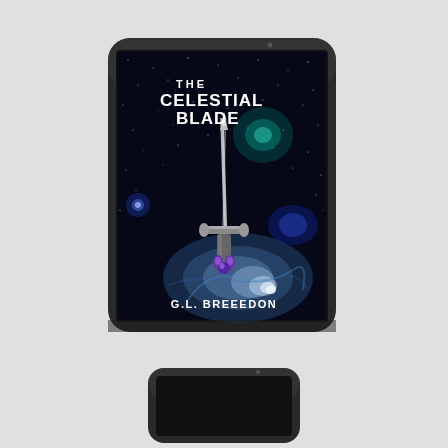[Figure (illustration): A tablet device displayed at a slight angle showing the book cover of 'The Celestial Blade' by G.L. Breeedon. The cover features a space/nebula background with stars, a glowing galaxy/spiral in the lower half, and a fantasy dagger/sword in the center. The title text reads 'THE CELESTIAL BLADE' and the author name 'G.L. BREEEDON' appears at the bottom. A second partial tablet is visible at the very bottom of the image.]